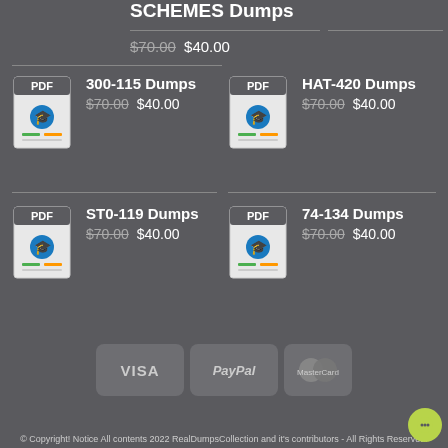SCHEMES Dumps
$70.00 $40.00
300-115 Dumps $70.00 $40.00
HAT-420 Dumps $70.00 $40.00
ST0-119 Dumps $70.00 $40.00
74-134 Dumps $70.00 $40.00
[Figure (logo): VISA PayPal MasterCard payment badges]
© Copyright! Notice All contents 2022 RealDumpsCollection and it's contributors - All Rights Reserved.